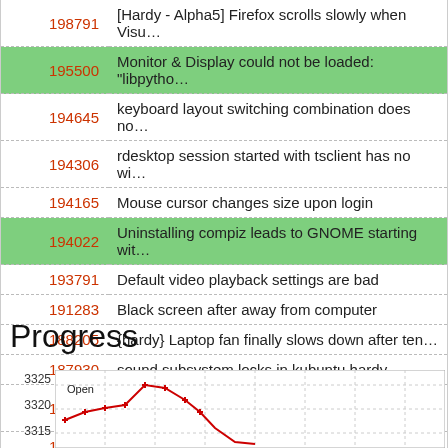| ID | Description |
| --- | --- |
| 198791 | [Hardy - Alpha5] Firefox scrolls slowly when Visu… |
| 195500 | Monitor & Display could not be loaded: "libpytho… |
| 194645 | keyboard layout switching combination does no… |
| 194306 | rdesktop session started with tsclient has no wi… |
| 194165 | Mouse cursor changes size upon login |
| 194022 | Uninstalling compiz leads to GNOME starting wit… |
| 193791 | Default video playback settings are bad |
| 191283 | Black screen after away from computer |
| 188205 | {hardy} Laptop fan finally slows down after ten… |
| 187930 | sound subsystem locks in kubuntu hardy |
| 187132 | hardy+openbox autostart.sh+xmodmap clear Lo… |
| 186063 | launchers for locations not working |
Progress
[Figure (line-chart): Line chart showing bug count over time; y-axis shows values 3315, 3320, 3325; red line labeled 'Open' with data points]